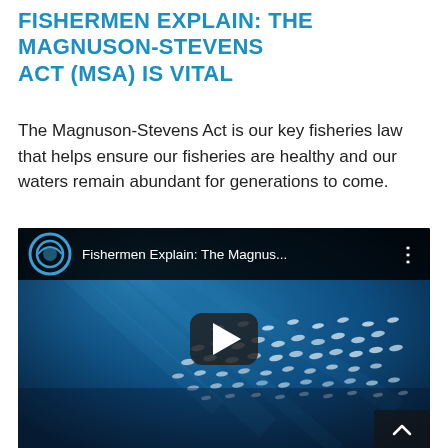FISHERMEN EXPLAIN: THE MAGNUSON-STEVENS ACT (MSA) IS VITAL
The Magnuson-Stevens Act is our key fisheries law that helps ensure our fisheries are healthy and our waters remain abundant for generations to come.
[Figure (screenshot): YouTube video thumbnail showing a school of fish underwater in blue water with a play button overlay. Video title reads 'Fishermen Explain: The Magnus...' with YouTube branding.]